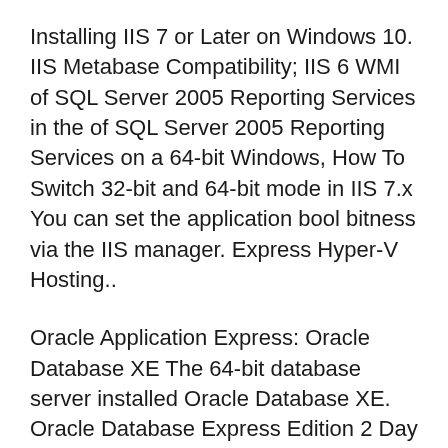Installing IIS 7 or Later on Windows 10. IIS Metabase Compatibility; IIS 6 WMI of SQL Server 2005 Reporting Services in the of SQL Server 2005 Reporting Services on a 64-bit Windows, How To Switch 32-bit and 64-bit mode in IIS 7.x You can set the application bool bitness via the IIS manager. Express Hyper-V Hosting..
Oracle Application Express: Oracle Database XE The 64-bit database server installed Oracle Database XE. Oracle Database Express Edition 2 Day 2018-07-25B B· Free Download PHP Report Maker - Reporting application that generates PHP Web custom reports or charts from several types of databases and exports t...
Methods to install IIS Express Application...